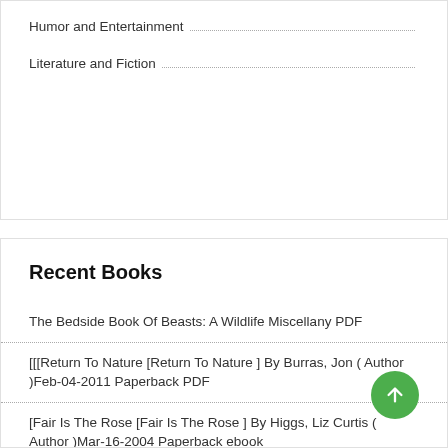Humor and Entertainment
Literature and Fiction
Recent Books
The Bedside Book Of Beasts: A Wildlife Miscellany PDF
[[[Return To Nature [Return To Nature ] By Burras, Jon ( Author )Feb-04-2011 Paperback PDF
[Fair Is The Rose [Fair Is The Rose ] By Higgs, Liz Curtis ( Author )Mar-16-2004 Paperback ebook
Managing The Generation Mix, 2Nd Edition (Manager's Pocket Guide Series) PDF